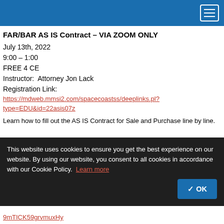FAR/BAR AS IS Contract – VIA ZOOM ONLY (navigation header bar)
FAR/BAR AS IS Contract – VIA ZOOM ONLY
July 13th, 2022
9:00 – 1:00
FREE 4 CE
Instructor:  Attorney Jon Lack
Registration Link:
https://mdweb.mmsi2.com/spacecoastss/deeplinks.pl?type=EDU&id=22asis07z
Learn how to fill out the AS IS Contract for Sale and Purchase line by line.
This website uses cookies to ensure you get the best experience on our website. By using our website, you consent to all cookies in accordance with our Cookie Policy. Learn more
9mTICK59grvmuxHy